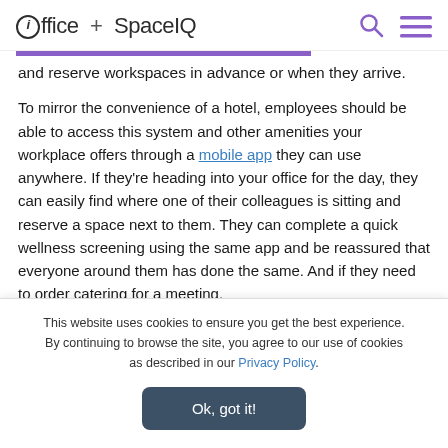ioffice + SpaceIQ
and reserve workspaces in advance or when they arrive.
To mirror the convenience of a hotel, employees should be able to access this system and other amenities your workplace offers through a mobile app they can use anywhere. If they’re heading into your office for the day, they can easily find where one of their colleagues is sitting and reserve a space next to them. They can complete a quick wellness screening using the same app and be reassured that everyone around them has done the same. And if they need to order catering for a meeting,
This website uses cookies to ensure you get the best experience. By continuing to browse the site, you agree to our use of cookies as described in our Privacy Policy.